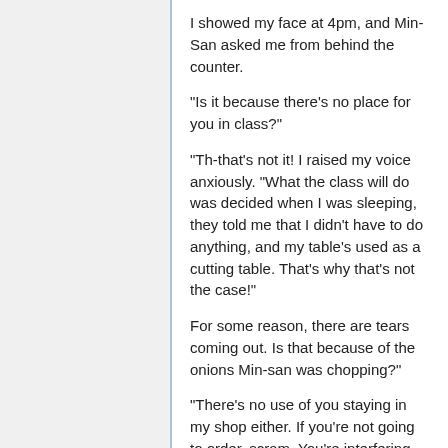I showed my face at 4pm, and Min-San asked me from behind the counter.
"Is it because there's no place for you in class?"
"Th-that's not it! I raised my voice anxiously. "What the class will do was decided when I was sleeping, they told me that I didn't have to do anything, and my table's used as a cutting table. That's why that's not the case!"
For some reason, there are tears coming out. Is that because of the onions Min-san was chopping?"
"There's no use of you staying in my shop either. If you're not going to order, scram. You're interfering with my preparations."
Why are you saying this to me when I'm